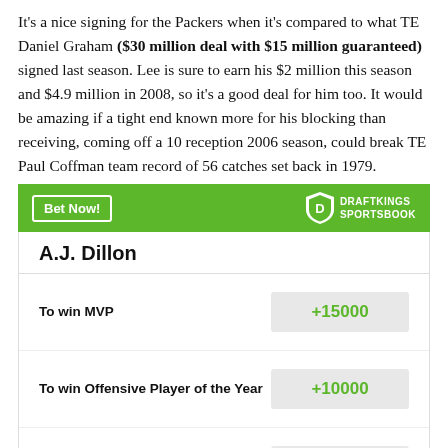It's a nice signing for the Packers when it's compared to what TE Daniel Graham ($30 million deal with $15 million guaranteed) signed last season. Lee is sure to earn his $2 million this season and $4.9 million in 2008, so it's a good deal for him too. It would be amazing if a tight end known more for his blocking than receiving, coming off a 10 reception 2006 season, could break TE Paul Coffman team record of 56 catches set back in 1979.
[Figure (other): DraftKings Sportsbook banner with 'Bet Now!' button and DraftKings shield logo]
|  | A.J. Dillon |
| --- | --- |
| To win MVP | +15000 |
| To win Offensive Player of the Year | +10000 |
| Most Rushing Yards in | +8000 |